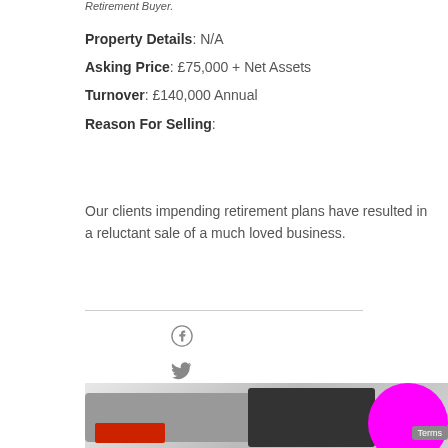Retirement Buyer.
Property Details: N/A
Asking Price: £75,000 + Net Assets
Turnover: £140,000 Annual
Reason For Selling:
Our clients impending retirement plans have resulted in a reluctant sale of a much loved business.
[Figure (illustration): Social media icons: Facebook, Twitter, LinkedIn]
[Figure (photo): A person in a black jacket working with a large format printer/plotter machine with a red material loaded.]